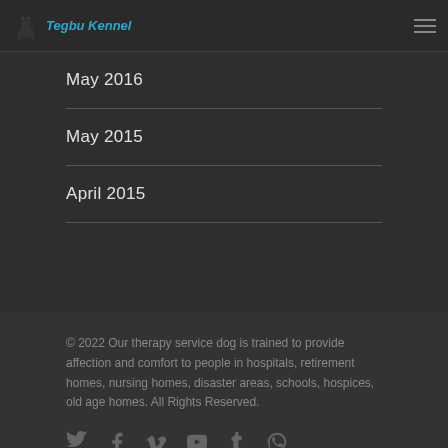Tegbu Kennel
May 2016
May 2015
April 2015
© 2022 Our therapy service dog is trained to provide affection and comfort to people in hospitals, retirement homes, nursing homes, disaster areas, schools, hospices, old age homes. All Rights Reserved.